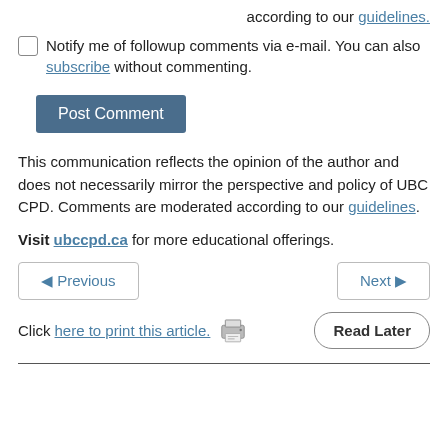according to our guidelines.
Notify me of followup comments via e-mail. You can also subscribe without commenting.
Post Comment
This communication reflects the opinion of the author and does not necessarily mirror the perspective and policy of UBC CPD. Comments are moderated according to our guidelines.
Visit ubccpd.ca for more educational offerings.
◀ Previous
Next ▶
Click here to print this article.
Read Later